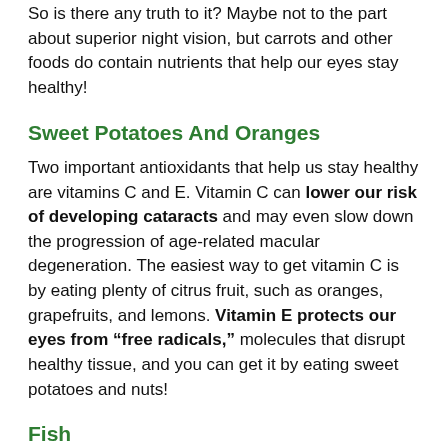So is there any truth to it? Maybe not to the part about superior night vision, but carrots and other foods do contain nutrients that help our eyes stay healthy!
Sweet Potatoes And Oranges
Two important antioxidants that help us stay healthy are vitamins C and E. Vitamin C can lower our risk of developing cataracts and may even slow down the progression of age-related macular degeneration. The easiest way to get vitamin C is by eating plenty of citrus fruit, such as oranges, grapefruits, and lemons. Vitamin E protects our eyes from “free radicals,” molecules that disrupt healthy tissue, and you can get it by eating sweet potatoes and nuts!
Fish
Fish are the best source of omega-3 fatty acids, which are crucial for brain function and a healthy immune system. Research has shown that they also play a